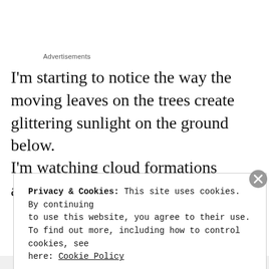Advertisements
I'm starting to notice the way the moving leaves on the trees create glittering sunlight on the ground below.
I'm watching cloud formations again, witnessing
Privacy & Cookies: This site uses cookies. By continuing to use this website, you agree to their use.
To find out more, including how to control cookies, see here: Cookie Policy
Close and accept